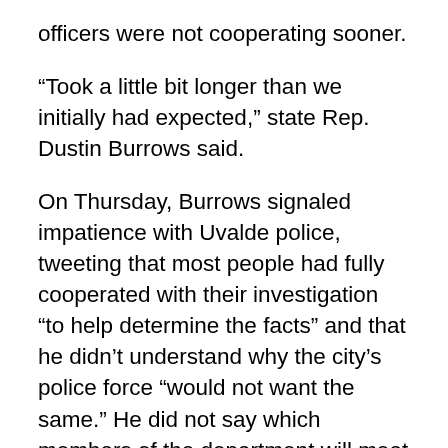officers were not cooperating sooner.
“Took a little bit longer than we initially had expected,” state Rep. Dustin Burrows said.
On Thursday, Burrows signaled impatience with Uvalde police, tweeting that most people had fully cooperated with their investigation “to help determine the facts” and that he didn’t understand why the city’s police force “would not want the same.” He did not say which members of the department will meet with the committee, which is set to continue questioning witnesses in Uvalde on Monday about the attack that killed 19 students and two teachers.